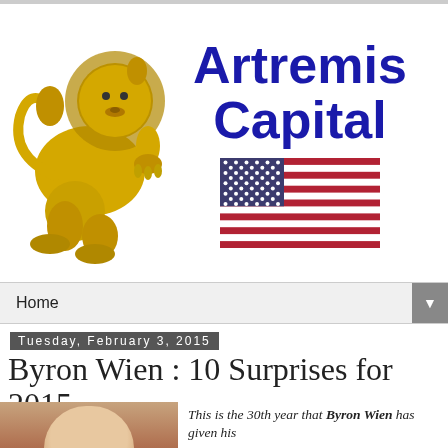[Figure (logo): Artremis Capital logo with golden heraldic lion rampant on left, blue bold text 'Artremis Capital' on right, and an American flag image below the text]
Home
Tuesday, February 3, 2015
Byron Wien : 10 Surprises for 2015
[Figure (photo): Headshot photo of Byron Wien]
This is the 30th year that Byron Wien has given his